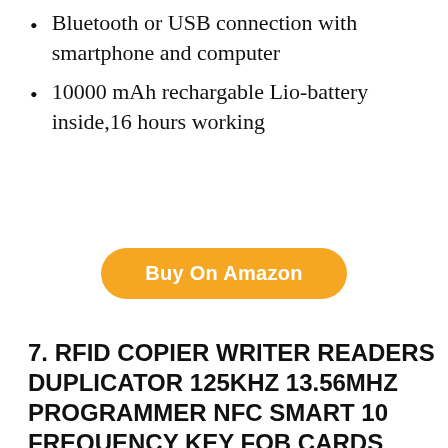Bluetooth or USB connection with smartphone and computer
10000 mAh rechargable Lio-battery inside,16 hours working
Buy On Amazon
7. RFID COPIER WRITER READERS DUPLICATOR 125KHZ 13.56MHZ PROGRAMMER NFC SMART 10 FREQUENCY KEY FOB CARDS READER UID DECODER
[Figure (photo): Product photo showing an RFID copier/writer device with a screen displaying a disclaimer, alongside blue RFID key fob tags with metal rings]